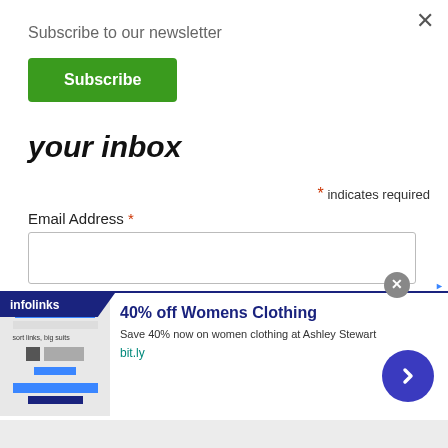Subscribe to our newsletter
Subscribe
your inbox
* indicates required
Email Address *
Subscribe
[Figure (screenshot): Infolinks advertisement banner showing '40% off Womens Clothing' with Ashley Stewart promotion, bit.ly URL, and navigation arrow button]
40% off Womens Clothing
Save 40% now on women clothing at Ashley Stewart
bit.ly